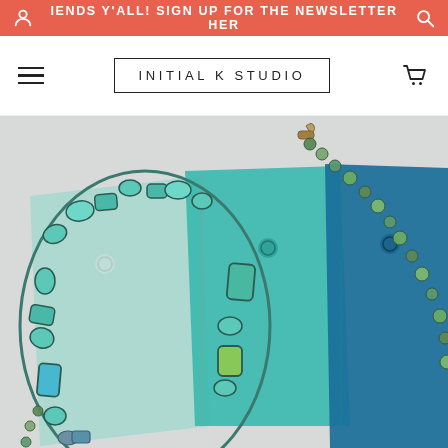IENDS Y'ALL! SIGN UP FOR THE NEWSLETTER HER
[Figure (logo): Initial K Studio logo in a rectangular border with text 'INITIAL K STUDIO' in spaced uppercase letters]
[Figure (photo): Overhead flat-lay photo of turquoise and stone jewelry necklaces and bracelets arranged on color swatch cards in shades of mint, teal, and cobalt blue]